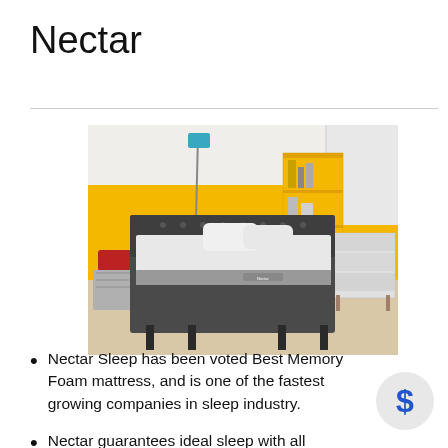Nectar
[Figure (photo): A bedroom scene with a Nectar mattress on a dark grey bed frame, white bedding and pillows, yellow accent wall, teal floor lamp, white bookshelf, and a white dresser on the right.]
Nectar Sleep has been voted Best Memory Foam mattress, and is one of the fastest growing companies in sleep industry.
Nectar guarantees ideal sleep with all of the longer-lasting elements the sleep...